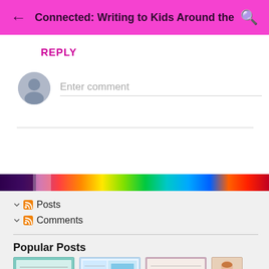Connected: Writing to Kids Around the Wo...
REPLY
Enter comment
[Figure (photo): Rainbow spectrum banner image used as decorative divider]
Posts
Comments
Popular Posts
[Figure (photo): Row of blog post thumbnail images showing handwritten letters and documents]